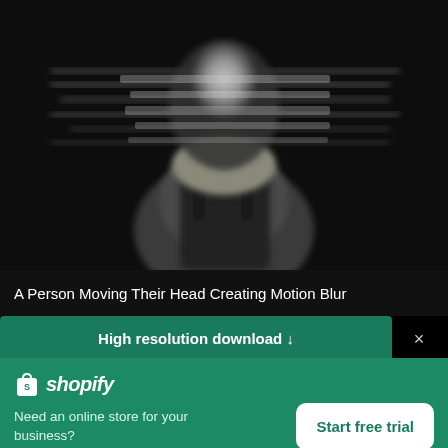[Figure (photo): Black and white motion blur photo of a person moving their head rapidly, creating streaks across the face; the figure wears a black tank top against a dark background.]
A Person Moving Their Head Creating Motion Blur
High resolution download ↓
[Figure (logo): Shopify logo: white shopping bag icon with the letter S, followed by the italic text 'shopify' in white.]
Need an online store for your business?
Start free trial